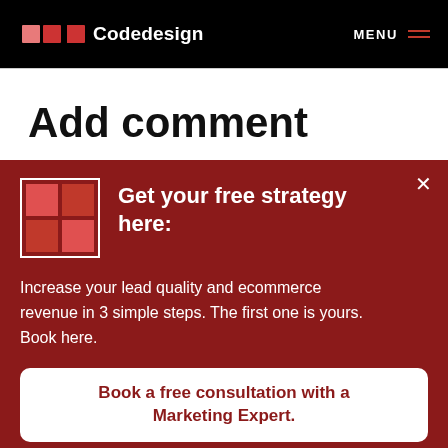Codedesign  MENU
Add comment
[Figure (screenshot): Red popup overlay with Codedesign logo grid, headline 'Get your free strategy here:', body text about lead quality and ecommerce revenue, and a white CTA button.]
Get your free strategy here:
Increase your lead quality and ecommerce revenue in 3 simple steps. The first one is yours. Book here.
Book a free consultation with a Marketing Expert.